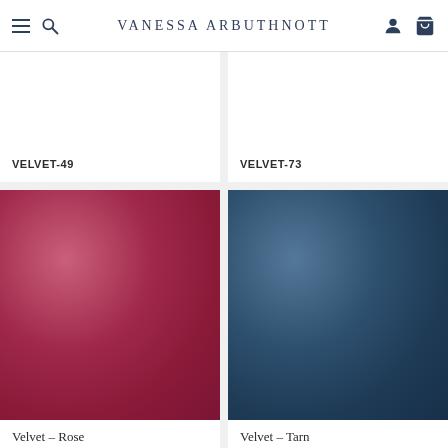Vanessa Arbuthnott
VELVET-49
VELVET-73
[Figure (photo): Velvet fabric swatch in rose/deep pink-red color]
Velvet – Rose
[Figure (photo): Velvet fabric swatch in tarn/dark navy blue color]
Velvet – Tarn